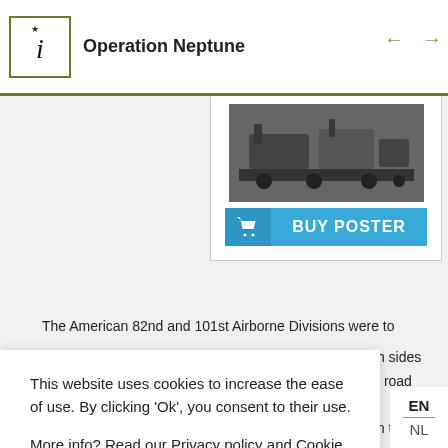Operation Neptune
[Figure (screenshot): Website screenshot showing Operation Neptune page with military equipment photo and BUY POSTER button]
The American 82nd and 101st Airborne Divisions were to
This website uses cookies to increase the ease of use. By clicking 'Ok', you consent to their use.

More info? Read our Privacy policy and Cookie policy.
th sides
y road
m the sea
g
h 6th
oture
r
Benouvlle and Ranville.
OK  Ignore
EN
NL